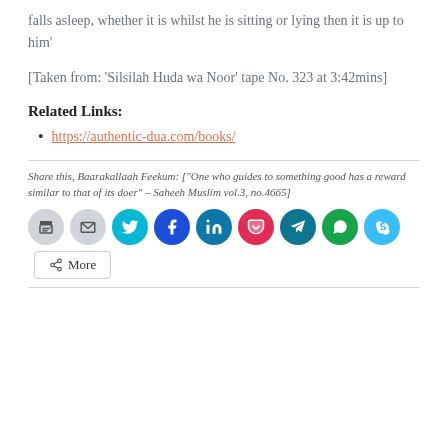falls asleep, whether it is whilst he is sitting or lying then it is up to him'
[Taken from: ‘Silsilah Huda wa Noor’ tape No. 323 at 3:42mins]
Related Links:
https://authentic-dua.com/books/
Share this, Baarakallaah Feekum: [“One who guides to something good has a reward similar to that of its doer” – Saheeh Muslim vol.3, no.4665]
[Figure (other): Social sharing buttons: print, email, Twitter, Facebook, LinkedIn, Pocket, Telegram, WhatsApp, Skype icons, and a More button]